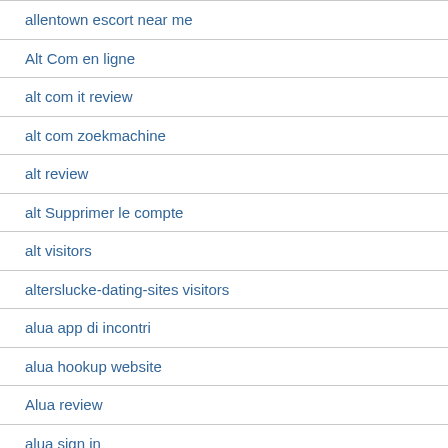allentown escort near me
Alt Com en ligne
alt com it review
alt com zoekmachine
alt review
alt Supprimer le compte
alt visitors
alterslucke-dating-sites visitors
alua app di incontri
alua hookup website
Alua review
alua sign in
Alua visitors
alua-inceleme dating
always payday loan